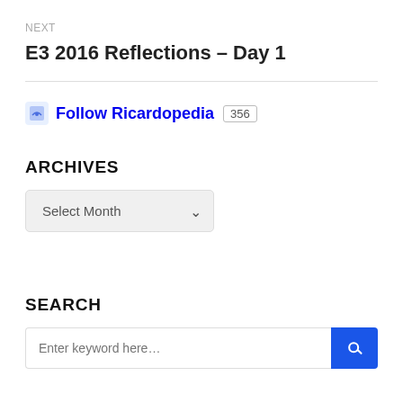NEXT
E3 2016 Reflections – Day 1
[Figure (other): Follow Ricardopedia button with follower count badge showing 356]
ARCHIVES
Select Month (dropdown)
SEARCH
Enter keyword here (search input with search button)